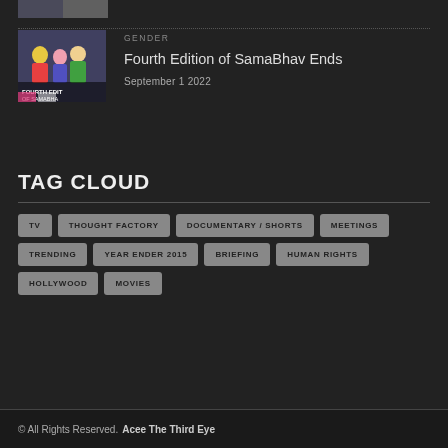[Figure (photo): Partial thumbnail image at top]
GENDER
Fourth Edition of SamaBhav Ends
September 1 2022
TAG CLOUD
TV
THOUGHT FACTORY
DOCUMENTARY / SHORTS
MEETINGS
TRENDING
YEAR ENDER 2015
BRIEFING
HUMAN RIGHTS
HOLLYWOOD
MOVIES
© All Rights Reserved. Acee The Third Eye